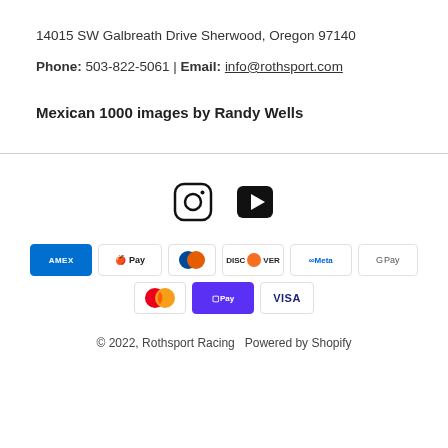14015 SW Galbreath Drive Sherwood, Oregon 97140
Phone: 503-822-5061 | Email: info@rothsport.com
Mexican 1000 images by Randy Wells
[Figure (infographic): Social media icons: Instagram and YouTube/video play button]
[Figure (infographic): Payment method logos: AMEX, Apple Pay, Diners Club, Discover, Meta Pay, Google Pay, Mastercard, Shop Pay, Visa]
© 2022, Rothsport Racing  Powered by Shopify